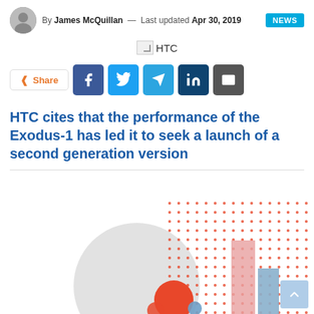By James McQuillan — Last updated Apr 30, 2019
[Figure (logo): HTC logo placeholder image]
Share (social share buttons: Facebook, Twitter, Telegram, LinkedIn, Email)
HTC cites that the performance of the Exodus-1 has led it to seek a launch of a second generation version
[Figure (illustration): Abstract decorative infographic with red dot grid pattern, large gray circle, red/orange circles, pink and blue bar chart elements]